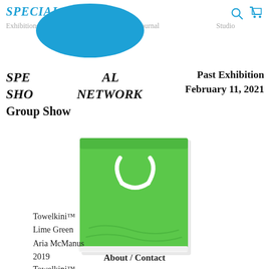SPECIAL SPECIAL — Exhibitions Shop Journal Studio
SPECIAL SPECIAL SHOPPING NETWORK
Group Show
Past Exhibition
February 11, 2021
[Figure (photo): Green towel/garment (Towelkini) in lime green color with white drawstring detail, photographed on white background]
Towelkini™
Lime Green
Aria McManus
2019
About / Contact